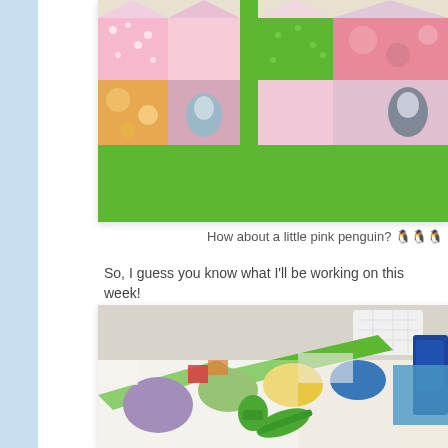[Figure (photo): Close-up photo of a pink and green patchwork quilt in progress, featuring various pink fabric patterns with polka dots, floral prints, and a penguin motif, arranged in squares with a green sashing/border]
How about a little pink penguin? 🐧🐧🐧
So, I guess you know what I'll be working on this week!
[Figure (photo): Photo of a sewing table/workspace with a colorful patchwork quilt in progress featuring purple, green, yellow, and blue hexagon-like fabric pieces with green tape measure and scissors on top]